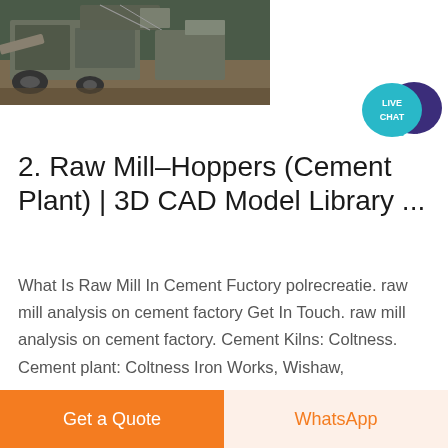[Figure (photo): Industrial raw mill / cement plant machinery with large mechanical equipment, conveyors, and heavy industrial components photographed outdoors.]
[Figure (logo): Live Chat badge — teal speech bubble with dark purple overlapping speech bubble, white text reading LIVE CHAT]
2. Raw Mill-Hoppers (Cement Plant) | 3D CAD Model Library ...
What Is Raw Mill In Cement Fuctory polrecreatie. raw mill analysis on cement factory Get In Touch. raw mill analysis on cement factory. Cement Kilns: Coltness. Cement plant: Coltness Iron Works, Wishaw, Lanarkshire. General view with the cement store and packing plant nearest, attached to the mill house behind, and the slag store beyond.
Get a Quote
WhatsApp